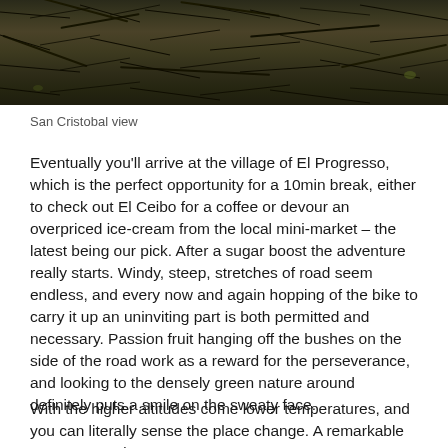[Figure (photo): A dark nature photograph showing dense dry brush, bare branches and scrubby vegetation, likely taken at San Cristobal, Galapagos Islands.]
San Cristobal view
Eventually you'll arrive at the village of El Progresso, which is the perfect opportunity for a 10min break, either to check out El Ceibo for a coffee or devour an overpriced ice-cream from the local mini-market – the latest being our pick. After a sugar boost the adventure really starts. Windy, steep, stretches of road seem endless, and every now and again hopping of the bike to carry it up an uninviting part is both permitted and necessary. Passion fruit hanging off the bushes on the side of the road work as a reward for the perseverance, and looking to the densely green nature around definitely puts a smile on the sweaty face.
With the higher altitudes come lower temperatures, and you can literally sense the place change. A remarkable temperature drop